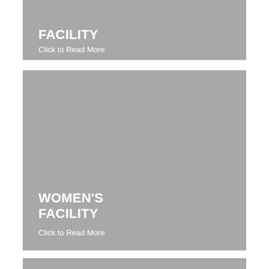[Figure (photo): Top card (partially visible, cropped at top) with grey background showing partial text 'FACILITY' and 'Click to Read More']
FACILITY
Click to Read More
[Figure (photo): Middle card with grey background showing WOMEN'S FACILITY heading and Click to Read More link]
WOMEN'S FACILITY
Click to Read More
[Figure (photo): Bottom card partially visible, grey background, no text visible]